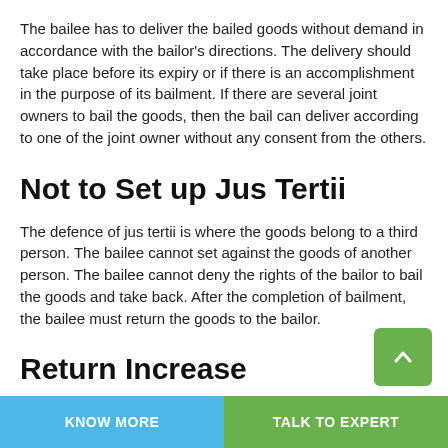The bailee has to deliver the bailed goods without demand in accordance with the bailor's directions. The delivery should take place before its expiry or if there is an accomplishment in the purpose of its bailment. If there are several joint owners to bail the goods, then the bail can deliver according to one of the joint owner without any consent from the others.
Not to Set up Jus Tertii
The defence of jus tertii is where the goods belong to a third person. The bailee cannot set against the goods of another person. The bailee cannot deny the rights of the bailor to bail the goods and take back. After the completion of bailment, the bailee must return the goods to the bailor.
Return Increase
If there is no contract during the bailment, then the bailee must
KNOW MORE   TALK TO EXPERT